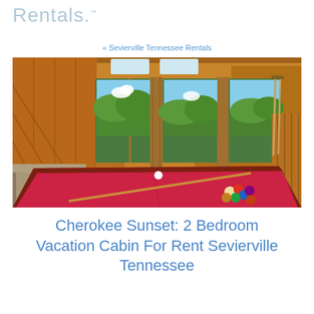Rentals.™
« Sevierville Tennessee Rentals
[Figure (photo): Interior of a log cabin loft with a red pool/billiard table, wooden beam ceiling, large windows overlooking forested mountains and blue sky, and a pool cue rack on the right side.]
Cherokee Sunset: 2 Bedroom Vacation Cabin For Rent Sevierville Tennessee